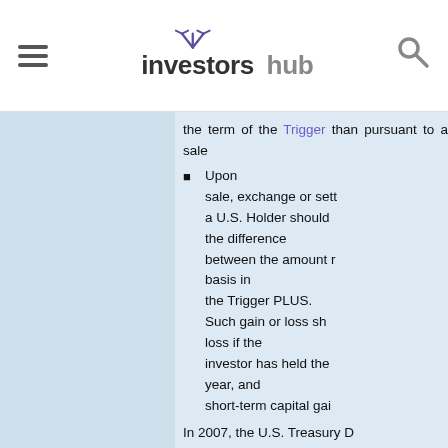investorsHub
the term of the Trigger than pursuant to a sale
Upon sale, exchange or settlement, a U.S. Holder should the difference between the amount received and the adjusted basis in the Trigger PLUS. Such gain or loss should be capital loss if the investor has held the Trigger PLUS for more than one year, and short-term capital gain
In 2007, the U.S. Treasury Department and Internal Revenue Service issued a notice requesting comments on the U.S. federal income tax treatment of "prepaid forward contracts" and certain